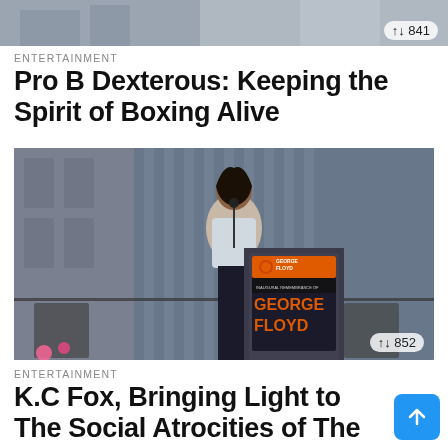[Figure (photo): Partial top image strip, gray/blue toned, cropped scene]
↑↓ 841
ENTERTAINMENT
Pro B Dexterous: Keeping the Spirit of Boxing Alive
[Figure (photo): Woman speaking at a podium with a George Floyd Inaugural Remembrance of George Floyd banner/sign visible on the podium]
↑↓ 852
ENTERTAINMENT
K.C Fox, Bringing Light to The Social Atrocities of The World